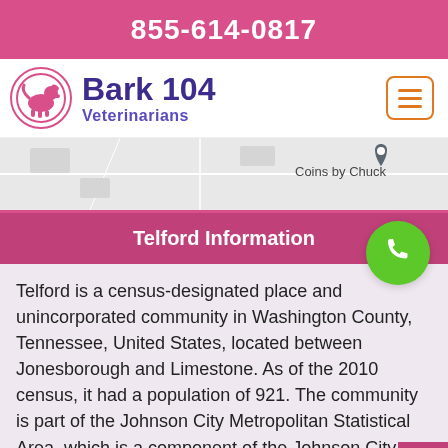855-614-0817
[Figure (logo): Bark 104 Veterinarians logo with pink dog silhouette in circle]
[Figure (map): Google Maps snippet showing location near 'Coins by Chuck' with a map pin]
Telford Information
Telford is a census-designated place and unincorporated community in Washington County, Tennessee, United States, located between Jonesborough and Limestone. As of the 2010 census, it had a population of 921. The community is part of the Johnson City Metropolitan Statistical Area, which is a component of the Johnson City–Kingsport–Bristol, TN-MA Combined Statistical Area.